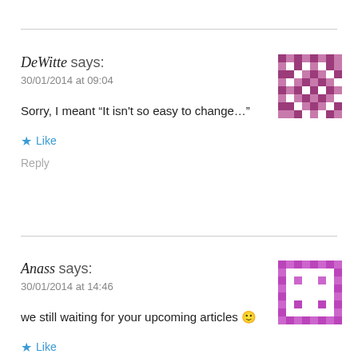DeWitte says:
30/01/2014 at 09:04
Sorry, I meant “It isn't so easy to change…”
★ Like
Reply
Anass says:
30/01/2014 at 14:46
we still waiting for your upcoming articles 🙂
★ Like